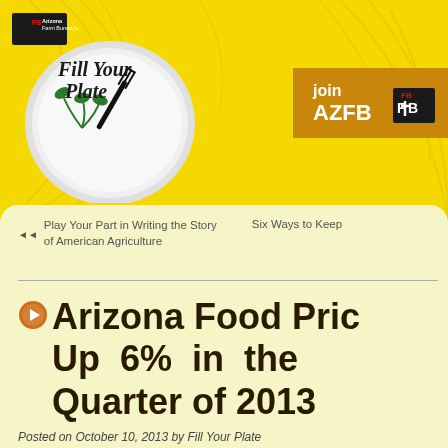[Figure (logo): Arizona Farm Bureau's Fill Your Plate logo — a plate with fork and herb illustration and script text 'Fill Your Plate']
[Figure (logo): join AZFB button with Farm Bureau logo in golden/amber color]
Play Your Part in Writing the Story of American Agriculture
Six Ways to Keep
Arizona Food Prices Up 6% in the Quarter of 2013
Posted on October 10, 2013 by Fill Your Plate